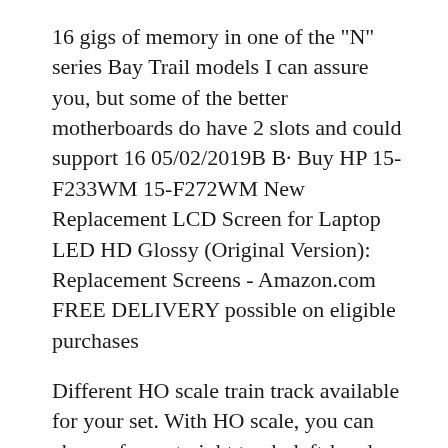16 gigs of memory in one of the "N" series Bay Trail models I can assure you, but some of the better motherboards do have 2 slots and could support 16 05/02/2019B B· Buy HP 15-F233WM 15-F272WM New Replacement LCD Screen for Laptop LED HD Glossy (Original Version): Replacement Screens - Amazon.com FREE DELIVERY possible on eligible purchases
Different HO scale train track available for your set. With HO scale, you can choose from straight track, left-hand turnouts, right-hand turnouts, and bridge pieces. You can even connect turn signals and lights to your detailed HO track set. There are many HO scale train track pieces available on eBay to complete your model